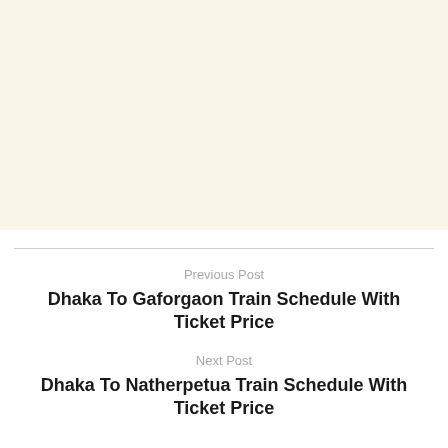[Figure (other): Light cream/beige colored background area occupying upper portion of page]
Previous Post
Dhaka To Gaforgaon Train Schedule With Ticket Price
Next Post
Dhaka To Natherpetua Train Schedule With Ticket Price